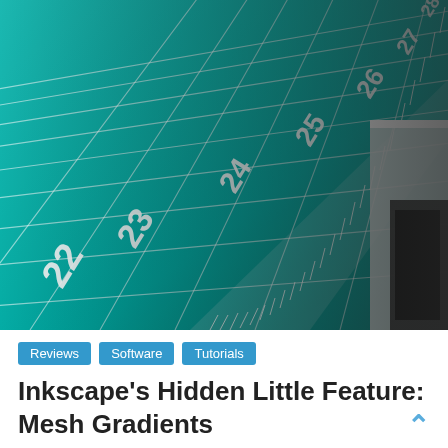[Figure (photo): Close-up photo of a teal/turquoise cutting mat with white grid lines and ruler markings showing numbers 22, 23, 24, 25, 26, 27, 28. A white-edged table or board is visible at the right edge with some dark mechanical equipment behind it.]
Reviews
Software
Tutorials
Inkscape's Hidden Little Feature: Mesh Gradients
27/02/2016   Paul   inkscape, mesh gradients, photo-